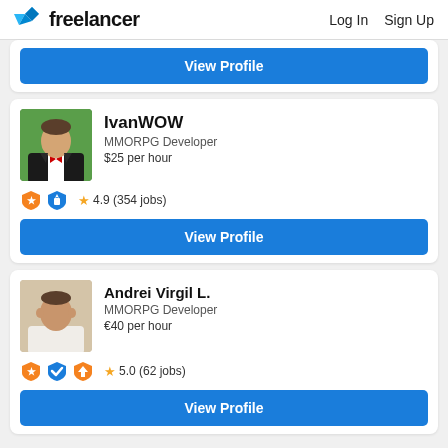freelancer  Log In  Sign Up
View Profile
IvanWOW
MMORPG Developer
$25 per hour
★ 4.9 (354 jobs)
View Profile
Andrei Virgil L.
MMORPG Developer
€40 per hour
★ 5.0 (62 jobs)
View Profile